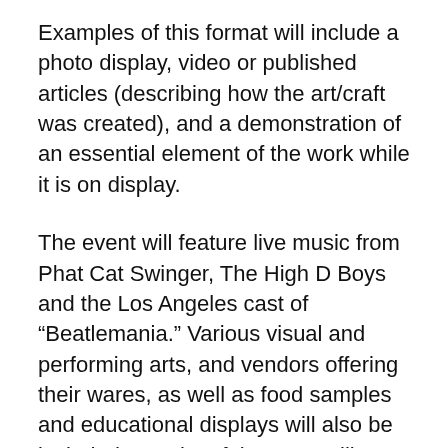Examples of this format will include a photo display, video or published articles (describing how the art/craft was created), and a demonstration of an essential element of the work while it is on display.
The event will feature live music from Phat Cat Swinger, The High D Boys and the Los Angeles cast of “Beatlemania.” Various visual and performing arts, and vendors offering their wares, as well as food samples and educational displays will also be included. Local craft brewers will present “The Art of the Brew.”
Among the sponsors of Kaleidoscope are American Medical Response, Antelope Valley Mall